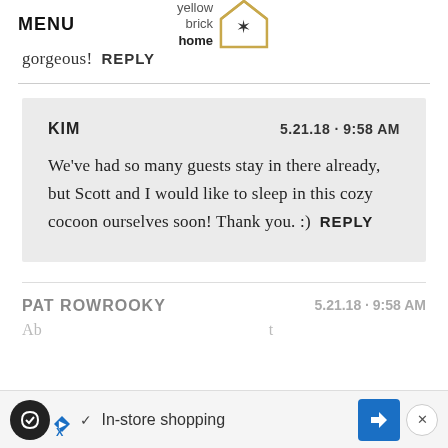MENU | yellow brick home (logo)
gorgeous!  REPLY
KIM   5.21.18 · 9:58 AM
We've had so many guests stay in there already, but Scott and I would like to sleep in this cozy cocoon ourselves soon! Thank you. :)  REPLY
PAT ROWROOKY   5.21.18 · 9:58 AM
Ab... t